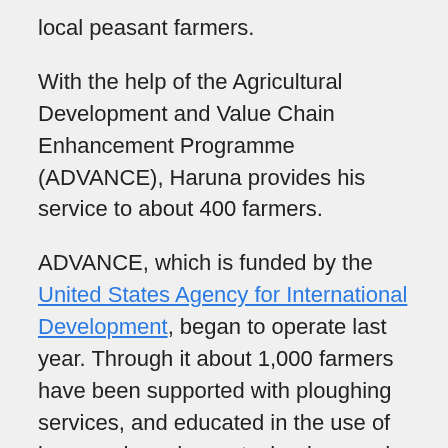local peasant farmers.
With the help of the Agricultural Development and Value Chain Enhancement Programme (ADVANCE), Haruna provides his service to about 400 farmers.
ADVANCE, which is funded by the United States Agency for International Development, began to operate last year. Through it about 1,000 farmers have been supported with ploughing services, and educated in the use of improved seed, new technology and best farming practices.
Haruna explained that for every acre of land ploughed, the farmers either paid him four dollars – the equivalent of 4.5 litres of fuel – or in kind with an 84-kilogramme bag of maize at the end of the farming season.
Aside from his ploughing services, Haruna supplies farmers with improved quality seeds, agro chemicals and